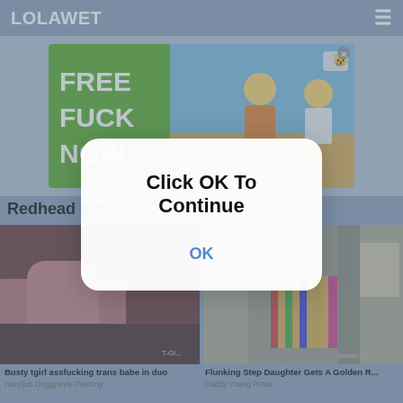LOLAWET
[Figure (illustration): Animated advertisement banner with green background text reading FREE FUCK NOW on the left side, and cartoon characters on a blue/yellow background on the right side.]
Redhead por...
[Figure (photo): Video thumbnail showing two women in intimate pose on a bed.]
[Figure (photo): Video thumbnail showing a young woman in a striped dress standing in a room.]
Busty tgirl assfucking trans babe in duo
Handjob Doggystyle Piercing
Flunking Step Daughter Gets A Golden R...
Daddy Young Petite
[Figure (screenshot): Modal dialog overlay with white rounded rectangle containing bold black text 'Click OK To Continue' and a blue 'OK' button link.]